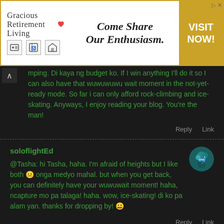[Figure (screenshot): Advertisement banner for Gracious Retirement Living with tagline 'Come Share Our Enthusiasm.' and orange CTA button 'VISIT NOW!']
mping. Di kaya ng budget ko. If I win anything I'll do it so I can also have that wuwuwuwu wait moment in the not-yet-ready mode. So far i can only afford rock-climbing and ice-skating. Anyways, I enjoy reading your blog. You're the man!
Reply   Link
soloflightEd
@Tasha: hi Tasha, haha. I'm afraid of heights but I like both 😐 onga medyo mahal. but when you get back, you can definitely have your wuwuwait moment! haha, ncapture mo pa talaga! haha. wow, ice-skating! di ko pa alam yan. thanks for dropping by! 😀
Reply   Link
Tasha